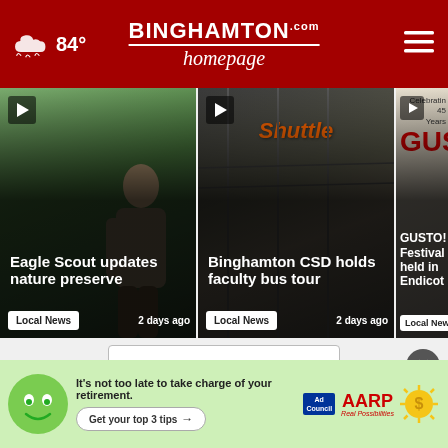Binghamton Homepage — 84°
[Figure (screenshot): News card 1: Eagle Scout updates nature preserve, Local News, 2 days ago]
[Figure (screenshot): News card 2: Binghamton CSD holds faculty bus tour, Local News, 2 days ago]
[Figure (screenshot): News card 3: GUSTO! Festival held in Endicott, Local News]
View All Local News →
[Figure (infographic): AARP Ad: It's not too late to take charge of your retirement. Get your top 3 tips →]